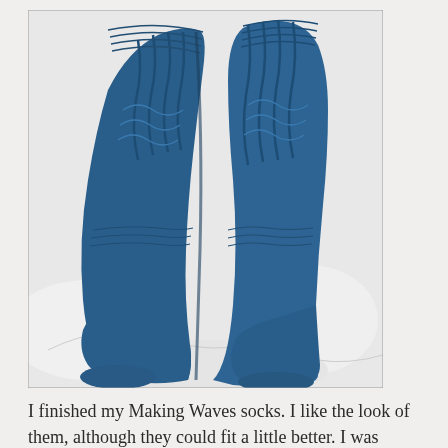[Figure (photo): A photograph of two blue knitted socks (Making Waves pattern) laid flat on a white surface, showing the cable/wave knit pattern on the upper part of each sock.]
I finished my Making Waves socks. I like the look of them, although they could fit a little better. I was reading another blog (sorry, but forgot whose) and